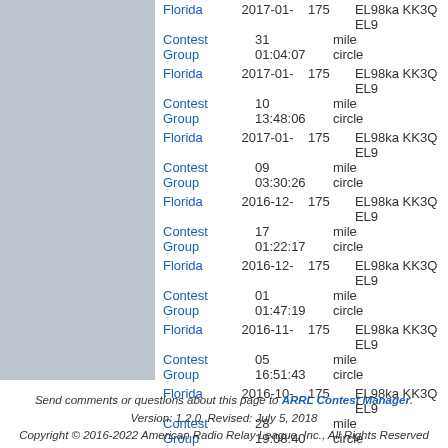[Figure (other): Gray left panel area]
Florida Contest Group 2017-01-31 01:04:07 175 mile circle EL98ka KK3Q EL9
Florida Contest Group 2017-01-10 13:48:06 175 mile circle EL98ka KK3Q EL9
Florida Contest Group 2017-01-09 03:30:26 175 mile circle EL98ka KK3Q EL9
Florida Contest Group 2016-12-17 01:22:17 175 mile circle EL98ka KK3Q EL9
Florida Contest Group 2016-12-01 01:47:19 175 mile circle EL98ka KK3Q EL9
Florida Contest Group 2016-11-05 16:51:43 175 mile circle EL98ka KK3Q EL9
Florida Contest Group 2016-10-28 19:08:40 175 mile circle EL98ka KK3Q EL9
Send comments or questions about this page to ARRL Contest Manager. Version: 1.2.0, Revised: July 5, 2018 Copyright © 2016-2022 American Radio Relay League, Inc., All Rights Reserved